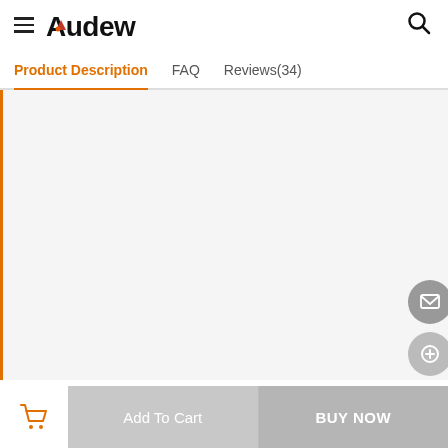Audew
Product Description | FAQ | Reviews(34)
[Figure (other): Large light gray product description image/content area with an orange left border]
Add To Cart | BUY NOW